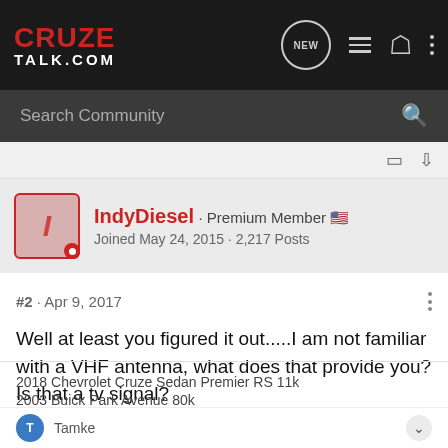CRUZE TALK.COM
Search Community
IndyDiesel · Premium Member  🇺🇸
Joined May 24, 2015 · 2,217 Posts
#2 · Apr 9, 2017
Well at least you figured it out.....I am not familiar with a VHF antenna, what does that provide you? Is that a tv signal?
2018 Chevrolet Cruze Sedan Premier RS 11k
2003 Buick Park Avenue 80k
Tamke